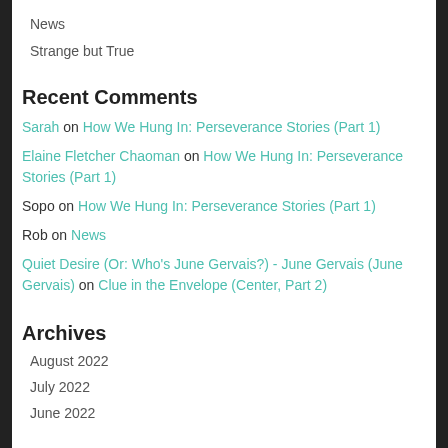News
Strange but True
Recent Comments
Sarah on How We Hung In: Perseverance Stories (Part 1)
Elaine Fletcher Chaoman on How We Hung In: Perseverance Stories (Part 1)
Sopo on How We Hung In: Perseverance Stories (Part 1)
Rob on News
Quiet Desire (Or: Who's June Gervais?) - June Gervais (June Gervais) on Clue in the Envelope (Center, Part 2)
Archives
August 2022
July 2022
June 2022